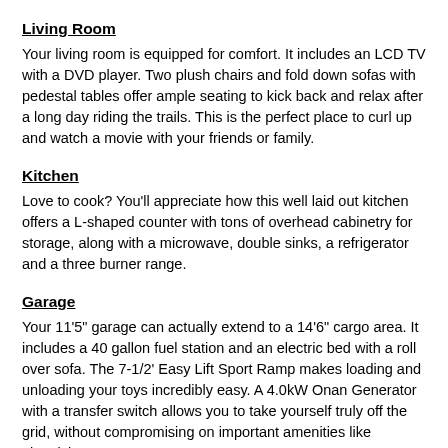Living Room
Your living room is equipped for comfort. It includes an LCD TV with a DVD player. Two plush chairs and fold down sofas with pedestal tables offer ample seating to kick back and relax after a long day riding the trails. This is the perfect place to curl up and watch a movie with your friends or family.
Kitchen
Love to cook? You'll appreciate how this well laid out kitchen offers a L-shaped counter with tons of overhead cabinetry for storage, along with a microwave, double sinks, a refrigerator and a three burner range.
Garage
Your 11'5" garage can actually extend to a 14'6" cargo area. It includes a 40 gallon fuel station and an electric bed with a roll over sofa. The 7-1/2' Easy Lift Sport Ramp makes loading and unloading your toys incredibly easy. A 4.0kW Onan Generator with a transfer switch allows you to take yourself truly off the grid, without compromising on important amenities like electricity!
Interested in learning more about the Sandstorm by Forest River?